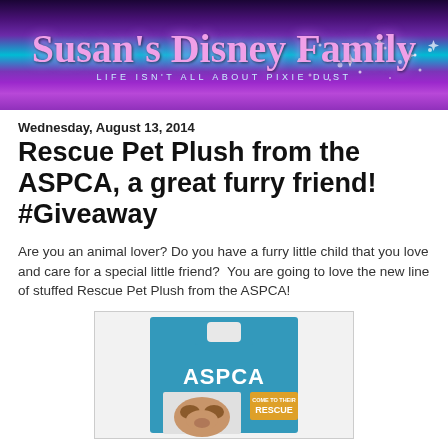[Figure (illustration): Susan's Disney Family blog header banner with cursive title text and subtitle 'Life isn't all about Pixie Dust' on a purple and teal gradient background]
Wednesday, August 13, 2014
Rescue Pet Plush from the ASPCA, a great furry friend! #Giveaway
Are you an animal lover? Do you have a furry little child that you love and care for a special little friend?  You are going to love the new line of stuffed Rescue Pet Plush from the ASPCA!
[Figure (photo): ASPCA Rescue Pet Plush product in blue ASPCA branded packaging with 'Come to Their Rescue' text, showing a stuffed animal (dog/cat) visible through window]